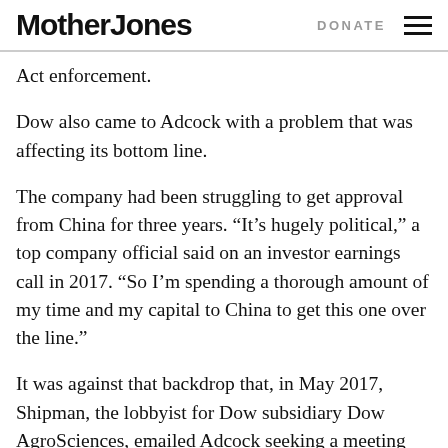Mother Jones   DONATE
Act enforcement.
Dow also came to Adcock with a problem that was affecting its bottom line.
The company had been struggling to get approval from China for three years. “It’s hugely political,” a top company official said on an investor earnings call in 2017. “So I’m spending a thorough amount of my time and my capital to China to get this one over the line.”
It was against that backdrop that, in May 2017, Shipman, the lobbyist for Dow subsidiary Dow AgroSciences, emailed Adcock seeking a meeting between Dow AgroScience’s CEO and the